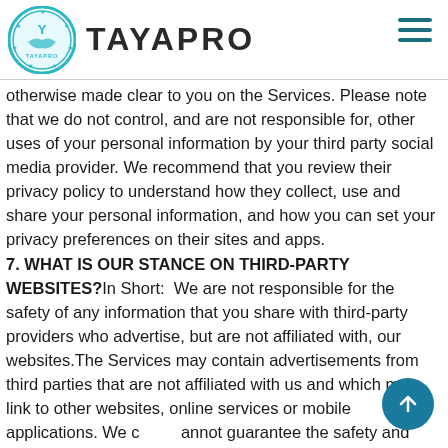TAYAPRO
otherwise made clear to you on the Services. Please note that we do not control, and are not responsible for, other uses of your personal information by your third party social media provider. We recommend that you review their privacy policy to understand how they collect, use and share your personal information, and how you can set your privacy preferences on their sites and apps.
7. WHAT IS OUR STANCE ON THIRD-PARTY WEBSITES?
In Short:  We are not responsible for the safety of any information that you share with third-party providers who advertise, but are not affiliated with, our websites.The Services may contain advertisements from third parties that are not affiliated with us and which may link to other websites, online services or mobile applications. We cannot guarantee the safety and privacy of data you provide to any third parties. Any data collected by third parties is not